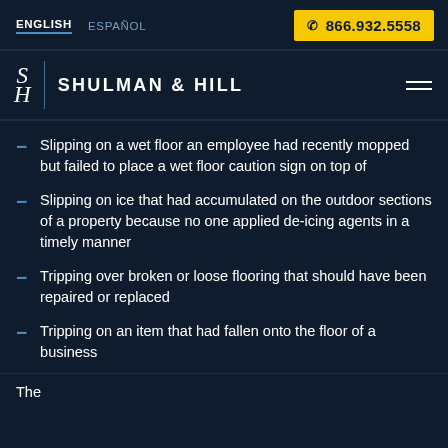ENGLISH  ESPAÑOL  ☎ 866.932.5558
[Figure (logo): Shulman & Hill law firm logo with stylized SH monogram and firm name]
Slipping on a wet floor an employee had recently mopped but failed to place a wet floor caution sign on top of
Slipping on ice that had accumulated on the outdoor sections of a property because no one applied de-icing agents in a timely manner
Tripping over broken or loose flooring that should have been repaired or replaced
Tripping on an item that had fallen onto the floor of a business
The...